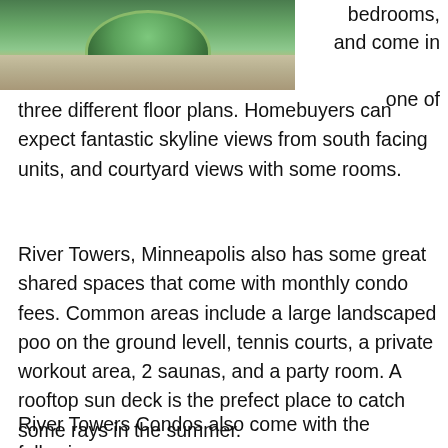[Figure (photo): Outdoor courtyard with circular green landscaped garden feature, paved surround, viewed from above]
bedrooms, and come in one of three different floor plans. Homebuyers can expect fantastic skyline views from south facing units, and courtyard views with some rooms.
River Towers, Minneapolis also has some great shared spaces that come with monthly condo fees. Common areas include a large landscaped poo on the ground levell, tennis courts, a private workout area, 2 saunas, and a party room. A rooftop sun deck is the prefect place to catch some rays in the summer.
River Towers Condos also come with the following